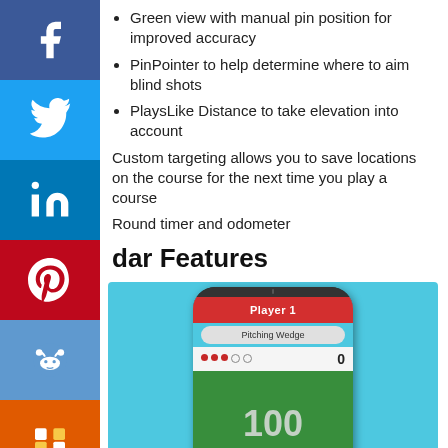Green view with manual pin position for improved accuracy
PinPointer to help determine where to aim blind shots
PlaysLike Distance to take elevation into account
Custom targeting allows you to save locations on the course for the next time you play a course
Round timer and odometer
dar Features
[Figure (screenshot): Screenshot of a golf GPS device application showing a phone with player 1, Pitching Wedge selected, score dots, and distance of 100 yards on a green background]